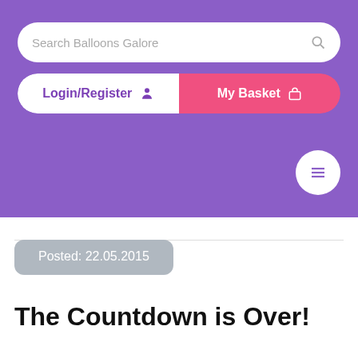[Figure (screenshot): Website header with purple background containing a search bar labeled 'Search Balloons Galore', a Login/Register button and My Basket button, and a hamburger menu button]
Posted: 22.05.2015
The Countdown is Over!